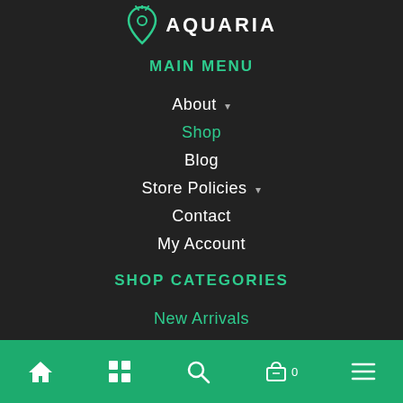[Figure (logo): Aquaria logo with fish/pin icon and bold white AQUARIA text]
MAIN MENU
About
Shop
Blog
Store Policies
Contact
My Account
SHOP CATEGORIES
New Arrivals
On Sale
[Figure (illustration): Bottom navigation bar with home, grid, search, cart with 0, and menu icons on green background]